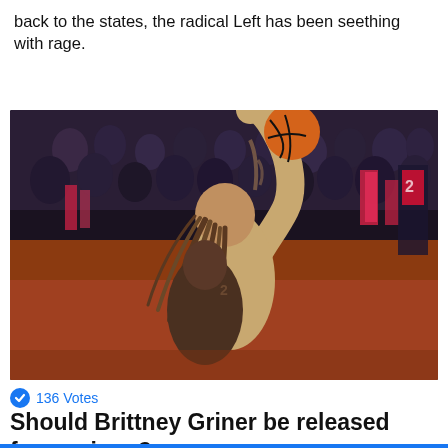back to the states, the radical Left has been seething with rage.
[Figure (photo): Basketball player with dreadlocks reaching up to make a layup shot in an arena with crowd in background and scoreboard lights visible]
136 Votes
Should Brittney Griner be released from prison?